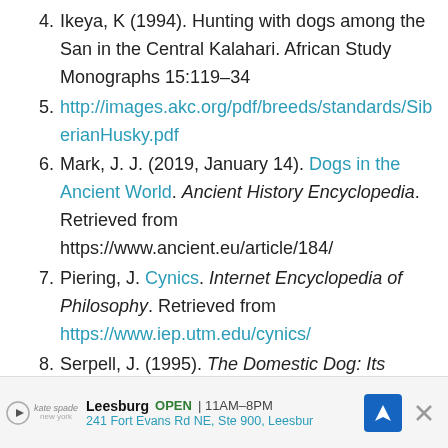4. Ikeya, K (1994). Hunting with dogs among the San in the Central Kalahari. African Study Monographs 15:119–34
5. http://images.akc.org/pdf/breeds/standards/SiberianHusky.pdf
6. Mark, J. J. (2019, January 14). Dogs in the Ancient World. Ancient History Encyclopedia. Retrieved from https://www.ancient.eu/article/184/
7. Piering, J. Cynics. Internet Encyclopedia of Philosophy. Retrieved from https://www.iep.utm.edu/cynics/
8. Serpell, J. (1995). The Domestic Dog: Its
[Figure (other): Advertisement banner for Kate Spade store in Leesburg, showing store hours OPEN 11AM-8PM, address 241 Fort Evans Rd NE, Ste 900, Leesbur, with navigation icon and close button]